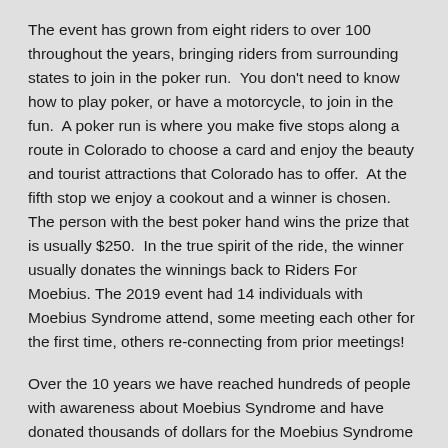The event has grown from eight riders to over 100 throughout the years, bringing riders from surrounding states to join in the poker run.  You don't need to know how to play poker, or have a motorcycle, to join in the fun.  A poker run is where you make five stops along a route in Colorado to choose a card and enjoy the beauty and tourist attractions that Colorado has to offer.  At the fifth stop we enjoy a cookout and a winner is chosen. The person with the best poker hand wins the prize that is usually $250.  In the true spirit of the ride, the winner usually donates the winnings back to Riders For Moebius. The 2019 event had 14 individuals with Moebius Syndrome attend, some meeting each other for the first time, others re-connecting from prior meetings!
Over the 10 years we have reached hundreds of people with awareness about Moebius Syndrome and have donated thousands of dollars for the Moebius Syndrome Community. We raise the funds through a small registration fee, selling